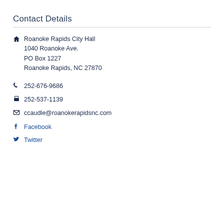Contact Details
Roanoke Rapids City Hall
1040 Roanoke Ave.
PO Box 1227
Roanoke Rapids, NC 27870
252-676-9686
252-537-1139
ccaudle@roanokerapidsnc.com
Facebook
Twitter